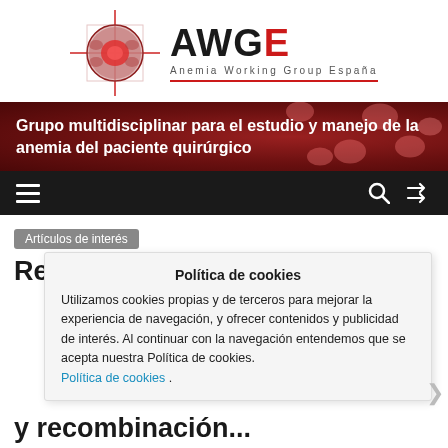[Figure (logo): AWGE logo - Anemia Working Group España, with circular emblem showing red blood cells on crosshair, beside bold AWGE text with red E]
[Figure (photo): Red banner with red blood cells background texture and white bold text: Grupo multidisciplinar para el estudio y manejo de la anemia del paciente quirúrgico]
[Figure (screenshot): Dark navigation bar with hamburger menu icon on left and search/shuffle icons on right]
Artículos de interés
Recombinant factor VII...
Política de cookies
Utilizamos cookies propias y de terceros para mejorar la experiencia de navegación, y ofrecer contenidos y publicidad de interés. Al continuar con la navegación entendemos que se acepta nuestra Política de cookies.
Política de cookies .